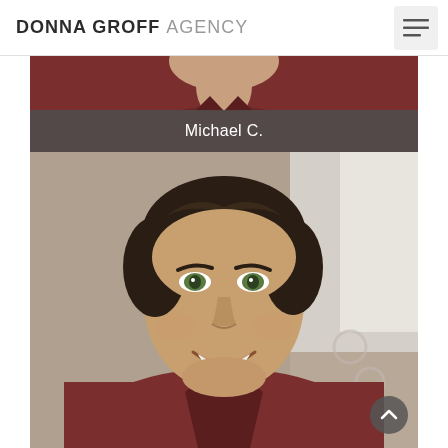DONNA GROFF AGENCY
[Figure (photo): Top portion of a person in a dark maroon shirt, partially visible at the top of the page]
Michael C.
[Figure (photo): Headshot of a young man with dark wavy hair, green eyes, and a friendly smile, wearing a dark maroon/burgundy shirt, set against a blurred indoor background]